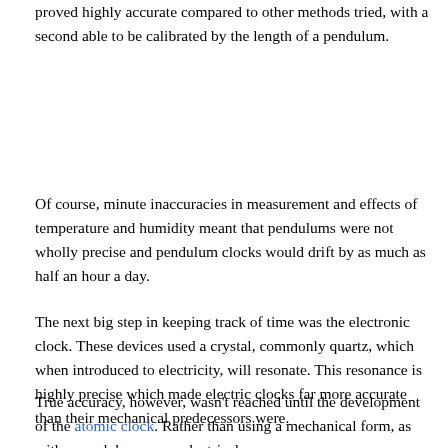Early mechanical clocks that had pendulums fitted proved highly accurate compared to other methods tried, with a second able to be calibrated by the length of a pendulum.
Of course, minute inaccuracies in measurement and effects of temperature and humidity meant that pendulums were not wholly precise and pendulum clocks would drift by as much as half an hour a day.
The next big step in keeping track of time was the electronic clock. These devices used a crystal, commonly quartz, which when introduced to electricity, will resonate. This resonance is highly precise which made electric clocks far more accurate than their mechanical predecessors were.
True accuracy, however, wasn't reached until the development of the atomic clock. Rather than using a mechanical form, as with a pendulum, or an electrical